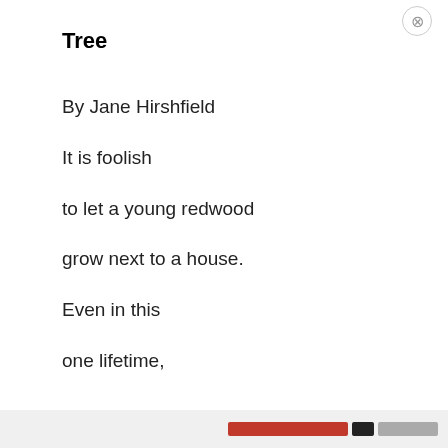Tree
By Jane Hirshfield
It is foolish
to let a young redwood
grow next to a house.
Even in this
one lifetime,
Privacy & Cookies: This site uses cookies. By continuing to use this website, you agree to their use.
To find out more, including how to control cookies, see here: Cookie Policy
Close and accept